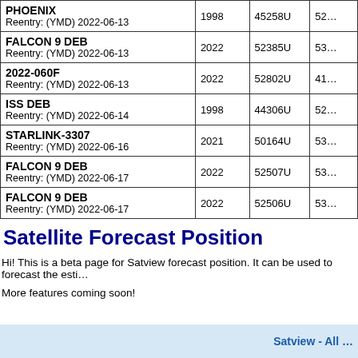| Name / Reentry | Year | ID | Num |
| --- | --- | --- | --- |
| PHOENIX
Reentry: (YMD) 2022-06-13 | 1998 | 45258U | 52… |
| FALCON 9 DEB
Reentry: (YMD) 2022-06-13 | 2022 | 52385U | 53… |
| 2022-060F
Reentry: (YMD) 2022-06-13 | 2022 | 52802U | 41… |
| ISS DEB
Reentry: (YMD) 2022-06-14 | 1998 | 44306U | 52… |
| STARLINK-3307
Reentry: (YMD) 2022-06-16 | 2021 | 50164U | 53… |
| FALCON 9 DEB
Reentry: (YMD) 2022-06-17 | 2022 | 52507U | 53… |
| FALCON 9 DEB
Reentry: (YMD) 2022-06-17 | 2022 | 52506U | 53… |
Satellite Forecast Position
Hi! This is a beta page for Satview forecast position. It can be used to forecast the esti...
More features coming soon!
Satview - All …